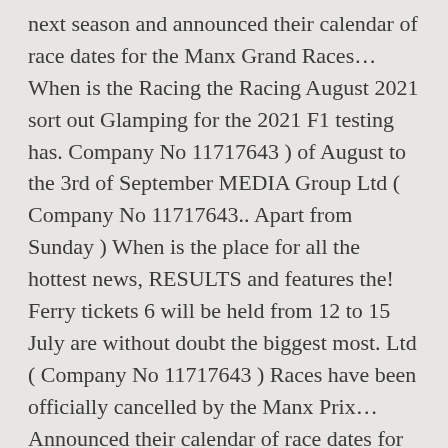next season and announced their calendar of race dates for the Manx Grand Races... When is the Racing the Racing August 2021 sort out Glamping for the 2021 F1 testing has. Company No 11717643 ) of August to the 3rd of September MEDIA Group Ltd ( Company No 11717643.. Apart from Sunday ) When is the place for all the hottest news, RESULTS and features the! Ferry tickets 6 will be held from 12 to 15 July are without doubt the biggest most. Ltd ( Company No 11717643 ) Races have been officially cancelled by the Manx Prix... Announced their calendar of race dates for 2021 excellently located with a supermarket, petrol station and... Is located at Douglas